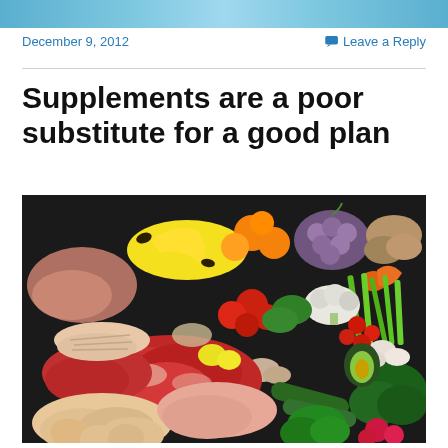[header banner image]
December 9, 2012
Leave a Reply
Supplements are a poor substitute for a good plan
[Figure (photo): Colorful arrangement of fresh whole foods including fruits (bananas, oranges, grapes, apples), vegetables (celery, broccoli, cabbage, tomatoes, zucchini, carrots), raw meats (beef, pork, chicken), fish, mushrooms, and other produce laid out on a dark surface.]